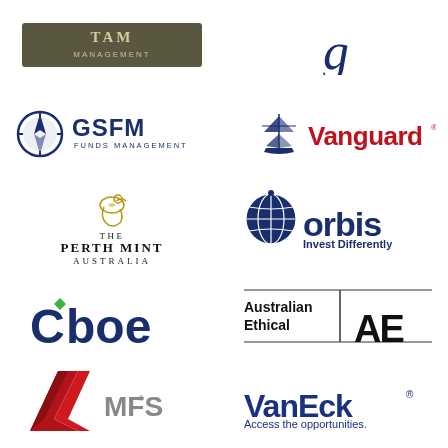[Figure (logo): TAM Asset Management logo – dark olive/grey banner with TAM MANAGEMENT text in light serif font]
[Figure (logo): Cursive script logo in dark navy blue (partially visible)]
[Figure (logo): GSFM Funds Management logo – navy compass icon with GSFM in bold navy and FUNDS MANAGEMENT in smaller caps]
[Figure (logo): Vanguard logo – tall ship illustration in navy with Vanguard in bold red text]
[Figure (logo): The Perth Mint Australia logo – gold swan emblem with THE PERTH MINT AUSTRALIA in dark serif text]
[Figure (logo): Orbis logo – globe icon in navy with orbis in dark navy and Invest Differently tagline]
[Figure (logo): Cboe logo – dark navy text with green diamond accent on the C]
[Figure (logo): Australian Ethical logo – text Australian Ethical with AE stylised monogram, separated by vertical line]
[Figure (logo): MFS logo – red geometric angular arrow/chevron icon with MFS in grey text]
[Figure (logo): VanEck logo – bold dark blue VanEck text with registered mark and Access the opportunities tagline]